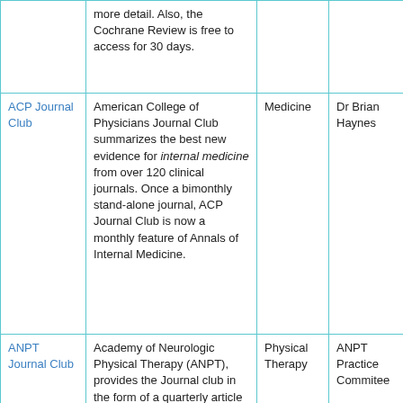| Name | Description | Specialty | Editor/Author |
| --- | --- | --- | --- |
|  | more detail. Also, the Cochrane Review is free to access for 30 days. |  |  |
| ACP Journal Club | American College of Physicians Journal Club summarizes the best new evidence for internal medicine from over 120 clinical journals. Once a bimonthly stand-alone journal, ACP Journal Club is now a monthly feature of Annals of Internal Medicine. | Medicine | Dr Brian Haynes |
| ANPT Journal Club | Academy of Neurologic Physical Therapy (ANPT), provides the Journal club in the form of a quarterly article and completed review designed for clinicians to utilize with colleagues at/or during at their... | Physical Therapy | ANPT Practice Commitee |